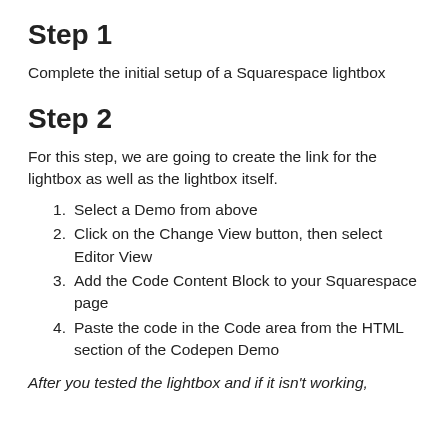Step 1
Complete the initial setup of a Squarespace lightbox
Step 2
For this step, we are going to create the link for the lightbox as well as the lightbox itself.
Select a Demo from above
Click on the Change View button, then select Editor View
Add the Code Content Block to your Squarespace page
Paste the code in the Code area from the HTML section of the Codepen Demo
After you tested the lightbox and if it isn't working,